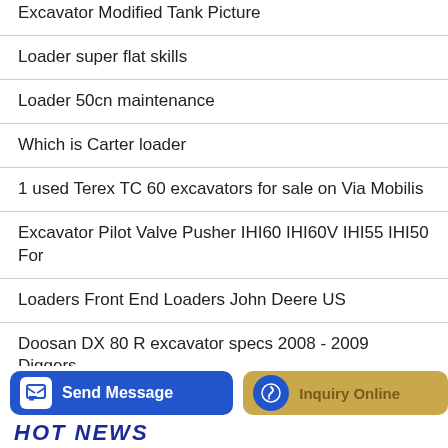Excavator Modified Tank Picture
Loader super flat skills
Loader 50cn maintenance
Which is Carter loader
1 used Terex TC 60 excavators for sale on Via Mobilis
Excavator Pilot Valve Pusher IHI60 IHI60V IHI55 IHI50 For
Loaders Front End Loaders John Deere US
Doosan DX 80 R excavator specs 2008 - 2009 Diggers
L 550 XPower Wheel loader - Liebherr
Send Message | Inquiry Online | HOT NEWS